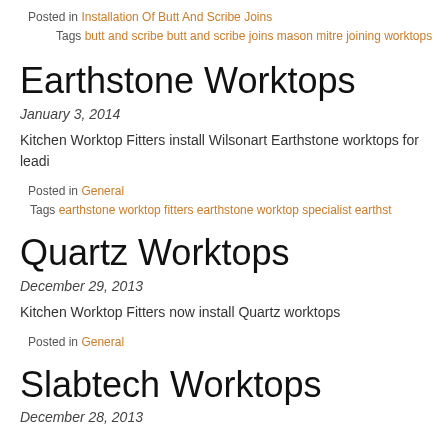Posted in Installation Of Butt And Scribe Joins
Tags butt and scribe butt and scribe joins mason mitre joining worktops...
Earthstone Worktops
January 3, 2014
Kitchen Worktop Fitters install Wilsonart Earthstone worktops for leading...
Posted in General
Tags earthstone worktop fitters earthstone worktop specialist earthst...
Quartz Worktops
December 29, 2013
Kitchen Worktop Fitters now install Quartz worktops
Posted in General
Slabtech Worktops
December 28, 2013